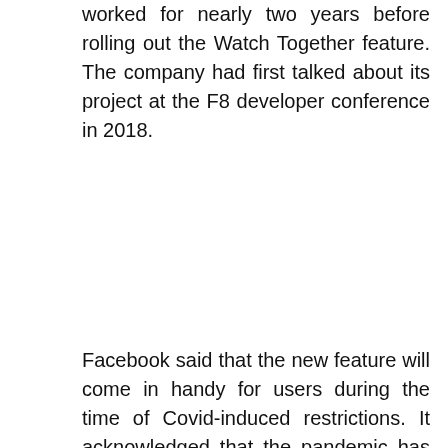worked for nearly two years before rolling out the Watch Together feature. The company had first talked about its project at the F8 developer conference in 2018.
Facebook said that the new feature will come in handy for users during the time of Covid-induced restrictions. It acknowledged that the pandemic has forced people